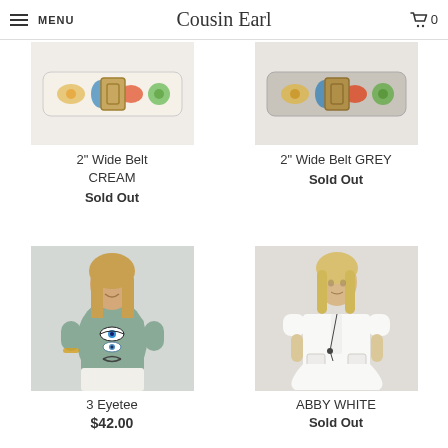MENU | Cousin Earl | 0
[Figure (photo): Colorful floral patterned 2" wide belt on light background - cream version]
2" Wide Belt CREAM
Sold Out
[Figure (photo): Colorful floral patterned 2" wide belt on light background - grey version]
2" Wide Belt GREY
Sold Out
[Figure (photo): Young woman wearing grey tee shirt with three evil eye graphic prints and white jeans]
3 Eyetee
$42.00
[Figure (photo): Blonde woman wearing white linen short-sleeve button-down dress with necklace]
ABBY WHITE
Sold Out